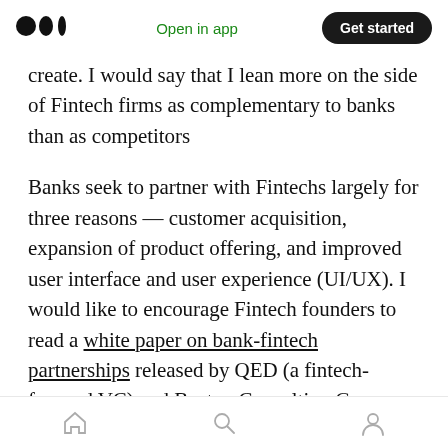Open in app | Get started
create. I would say that I lean more on the side of Fintech firms as complementary to banks than as competitors
Banks seek to partner with Fintechs largely for three reasons — customer acquisition, expansion of product offering, and improved user interface and user experience (UI/UX). I would like to encourage Fintech founders to read a white paper on bank-fintech partnerships released by QED (a fintech-focused VC) and Boston Consulting Group this week. In their analysis, they found that Adjacent Competitors (Fintech
home | search | profile